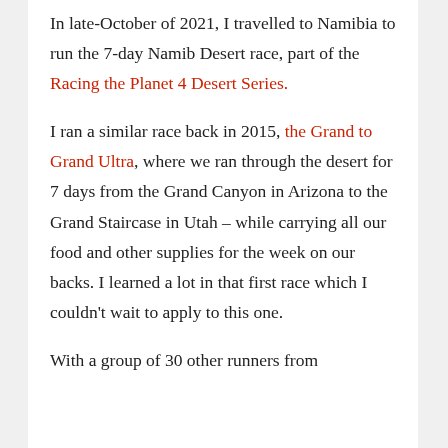In late-October of 2021, I travelled to Namibia to run the 7-day Namib Desert race, part of the Racing the Planet 4 Desert Series.
I ran a similar race back in 2015, the Grand to Grand Ultra, where we ran through the desert for 7 days from the Grand Canyon in Arizona to the Grand Staircase in Utah – while carrying all our food and other supplies for the week on our backs. I learned a lot in that first race which I couldn't wait to apply to this one.
With a group of 30 other runners from